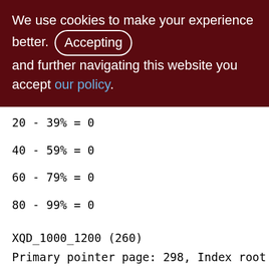We use cookies to make your experience better. By accepting and further navigating this website you accept our policy.
20 - 39% = 0
40 - 59% = 0
60 - 79% = 0
80 - 99% = 0
XQD_1000_1200 (260)
Primary pointer page: 298, Index root page: 307
Total formats: 1, used formats: 1
Average record length: 54.06, total records: 5256
Average version length: 72.11, total versions: 1001
[Figure (other): Back to top button (arrow pointing up) in gray rounded rectangle, bottom right corner]